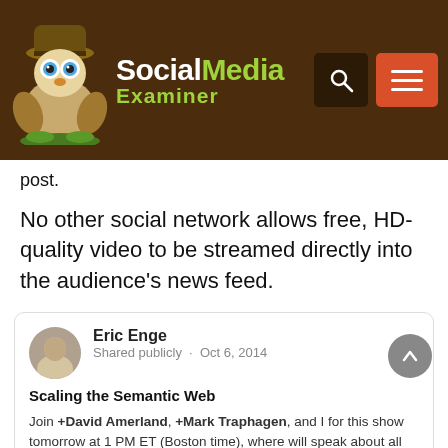[Figure (logo): Social Media Examiner website header with mascot (cartoon explorer owl character), logo text 'SocialMedia Examiner', a dark search icon button, and an orange hamburger menu button on a dark brown background.]
post.
No other social network allows free, HD-quality video to be streamed directly into the audience's news feed.
[Figure (screenshot): Google+ post card by Eric Enge, shared publicly on Oct 6, 2014. Title: 'Scaling the Semantic Web'. Body: 'Join +David Amerland, +Mark Traphagen, and I for this show tomorrow at 1 PM ET (Boston time), where will speak about all the latest developments in semantic search and the Knowledge Graph. Details are below!' with a partial banner image at the bottom.]